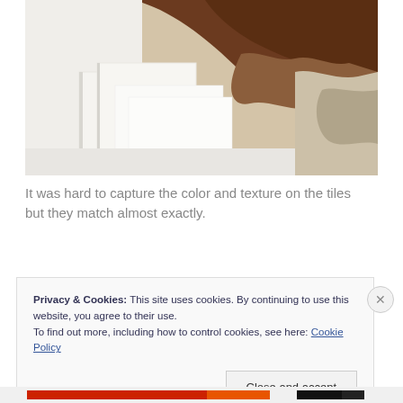[Figure (photo): Photo of white ceramic tiles stacked against a damaged plaster wall with exposed brown brick/clay surface behind it. The tiles are white and glossy, contrasting with the rough, earthy texture of the broken wall.]
It was hard to capture the color and texture on the tiles but they match almost exactly.
Privacy & Cookies: This site uses cookies. By continuing to use this website, you agree to their use.
To find out more, including how to control cookies, see here: Cookie Policy
Close and accept